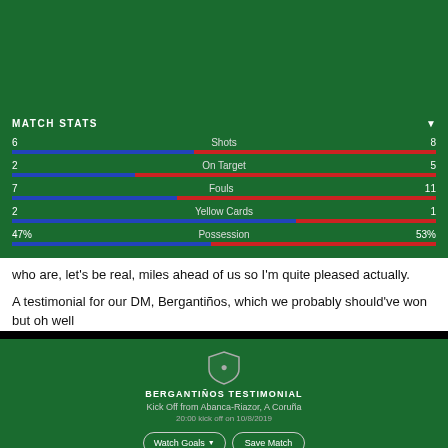[Figure (infographic): Match stats panel on green background showing: Shots 6 vs 8, On Target 2 vs 5, Fouls 7 vs 11, Yellow Cards 2 vs 1, Possession 47% vs 53%, with blue and red horizontal bars.]
who are, let's be real, miles ahead of us so I'm quite pleased actually.
A testimonial for our DM, Bergantinos, which we probably should've won but oh well
[Figure (screenshot): Bergantiños Testimonial card on green background. Kick Off from Abanca-Riazor, A Coruña. 20:00 kick off on 10/8/2019. Buttons: Watch Goals, Save Match, Review and Share Highlight Video.]